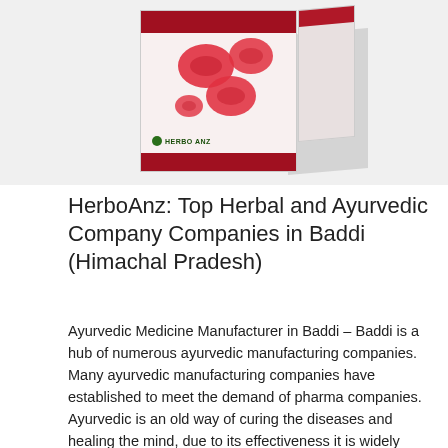[Figure (photo): Product box of HerboAnz herbal/ayurvedic medicine showing red blood cells graphic on a white and dark red box, with a side panel and shadow, against a light grey background. Partially cropped at top.]
HerboAnz: Top Herbal and Ayurvedic Company Companies in Baddi (Himachal Pradesh)
Ayurvedic Medicine Manufacturer in Baddi – Baddi is a hub of numerous ayurvedic manufacturing companies. Many ayurvedic manufacturing companies have established to meet the demand of pharma companies. Ayurvedic is an old way of curing the diseases and healing the mind, due to its effectiveness it is widely used by today's generation.